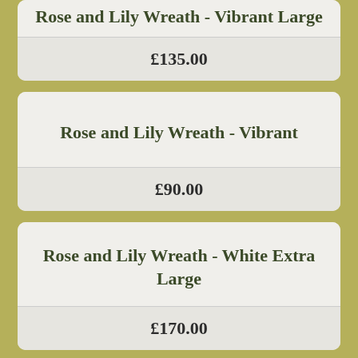Rose and Lily Wreath - Vibrant Large
£135.00
Rose and Lily Wreath - Vibrant
£90.00
Rose and Lily Wreath - White Extra Large
£170.00
(partial product name cut off)